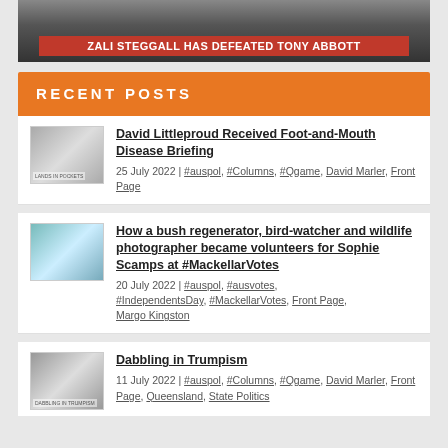[Figure (photo): News broadcast screenshot showing banner text 'ZALI STEGGALL HAS DEFEATED TONY ABBOTT']
RECENT POSTS
[Figure (photo): Thumbnail image for post about David Littleproud - lands in pockets magazine cover]
David Littleproud Received Foot-and-Mouth Disease Briefing
25 July 2022 | #auspol, #Columns, #Qgame, David Marler, Front Page
[Figure (photo): Thumbnail image for post about Sophie Scamps volunteers]
How a bush regenerator, bird-watcher and wildlife photographer became volunteers for Sophie Scamps at #MackellarVotes
20 July 2022 | #auspol, #ausvotes, #IndependentsDay, #MackellarVotes, Front Page, Margo Kingston
[Figure (photo): Thumbnail image for Dabbling in Trumpism post]
Dabbling in Trumpism
11 July 2022 | #auspol, #Columns, #Qgame, David Marler, Front Page, Queensland, State Politics